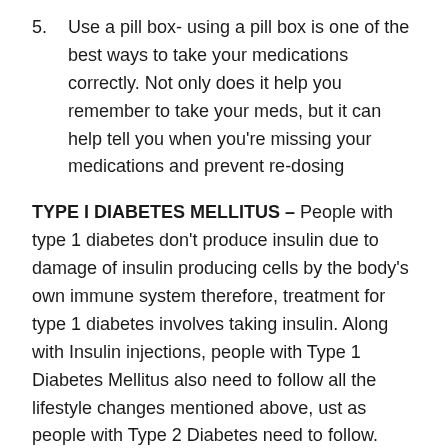5. Use a pill box- using a pill box is one of the best ways to take your medications correctly. Not only does it help you remember to take your meds, but it can help tell you when you're missing your medications and prevent re-dosing
TYPE I DIABETES MELLITUS – People with type 1 diabetes don't produce insulin due to damage of insulin producing cells by the body's own immune system therefore, treatment for type 1 diabetes involves taking insulin. Along with Insulin injections, people with Type 1 Diabetes Mellitus also need to follow all the lifestyle changes mentioned above, ust as people with Type 2 Diabetes need to follow.